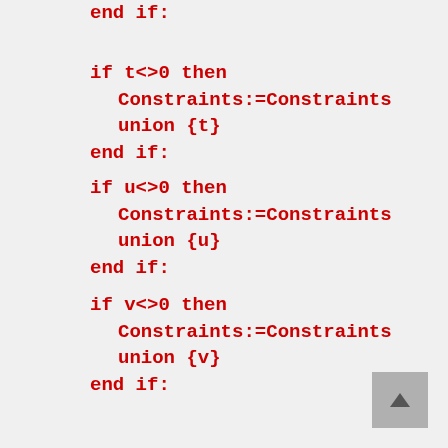end if:
if t<>0 then
   Constraints:=Constraints union {t}
end if:
if u<>0 then
   Constraints:=Constraints union {u}
end if:
if v<>0 then
   Constraints:=Constraints union {v}
end if:
if w<>0 then
   Constraints:=Constraints union {w}
end if:
if y<>0 then
   Constraints:=Constraints union {y}